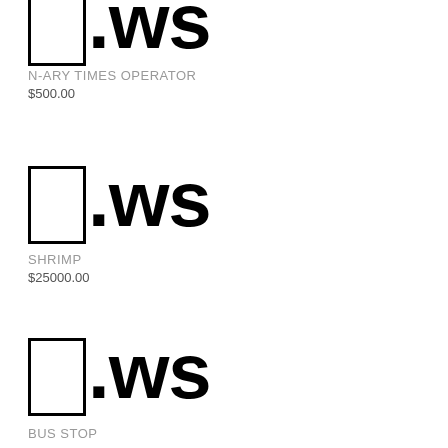[Figure (other): Domain listing: box character followed by .ws, labeled N-ARY TIMES OPERATOR, price $500.00 (partially visible at top)]
N-ARY TIMES OPERATOR
$500.00
[Figure (other): Domain listing: box character followed by .ws, labeled SHRIMP, price $25000.00]
SHRIMP
$25000.00
[Figure (other): Domain listing: box character followed by .ws, labeled BUS STOP (partially visible at bottom)]
BUS STOP